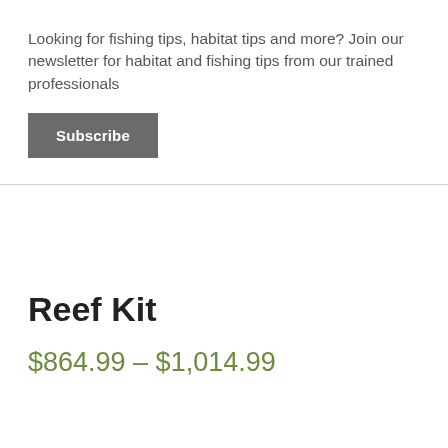×
Looking for fishing tips, habitat tips and more? Join our newsletter for habitat and fishing tips from our trained professionals
Subscribe
Reef Kit
$864.99 – $1,014.99